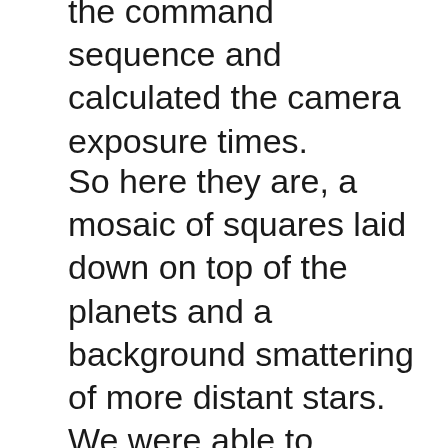the command sequence and calculated the camera exposure times.
So here they are, a mosaic of squares laid down on top of the planets and a background smattering of more distant stars. We were able to photograph not only the Earth, but also five other of the Sun's nine known planets. Mercury, the innermost, was lost in the glare of the Sun, and Mars and Pluto were too small, too dimly lit, and/or too far away. Uranus and Neptune